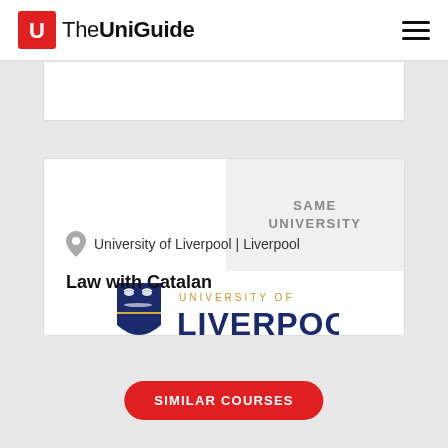The UniGuide
SAME UNIVERSITY
[Figure (logo): University of Liverpool shield logo with text 'UNIVERSITY OF LIVERPOOL']
University of Liverpool | Liverpool
Law with Catalan
SIMILAR COURSES